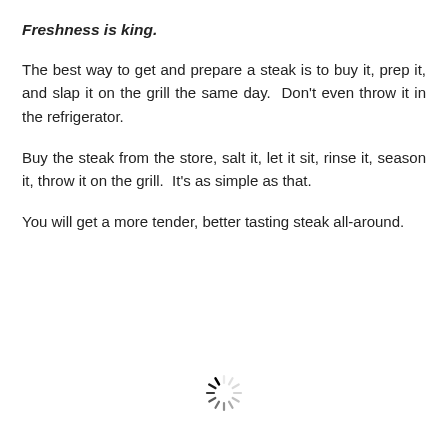Freshness is king.
The best way to get and prepare a steak is to buy it, prep it, and slap it on the grill the same day.  Don't even throw it in the refrigerator.
Buy the steak from the store, salt it, let it sit, rinse it, season it, throw it on the grill.  It's as simple as that.
You will get a more tender, better tasting steak all-around.
[Figure (other): Loading spinner icon — a circular arrangement of radial lines in varying shades of gray resembling a progress/loading indicator]